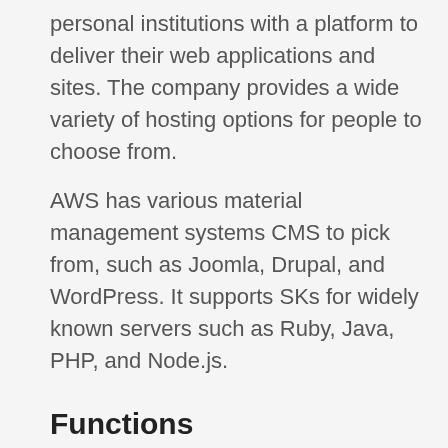personal institutions with a platform to deliver their web applications and sites. The company provides a wide variety of hosting options for people to choose from.
AWS has various material management systems CMS to pick from, such as Joomla, Drupal, and WordPress. It supports SKs for widely known servers such as Ruby, Java, PHP, and Node.js.
Functions
Scalable resources
It has an uptime of 99.99%
Free plan for brand-new users